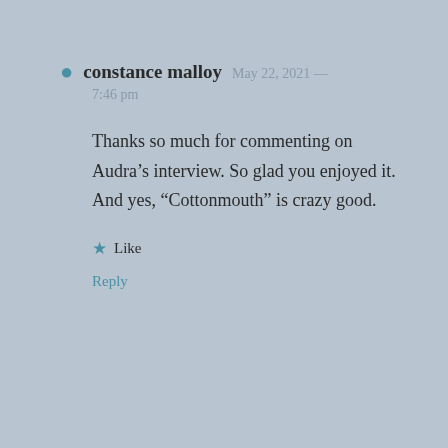constance malloy  May 22, 2021 —  7:46 pm
Thanks so much for commenting on Audra’s interview. So glad you enjoyed it. And yes, “Cottonmouth” is crazy good.
★ Like
Reply